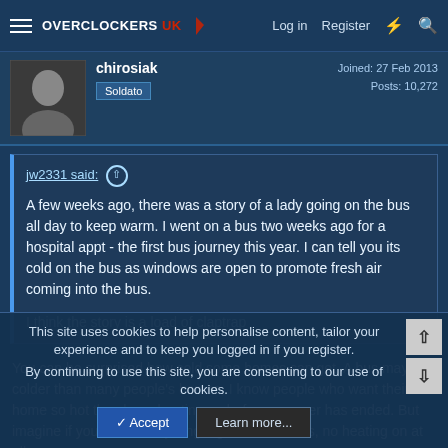Overclockers UK — Log in | Register
chirosiak
Soldato
Joined: 27 Feb 2013
Posts: 10,272
jw2331 said: ↑

A few weeks ago, there was a story of a lady going on the bus all day to keep warm. I went on a bus two weeks ago for a hospital appt - the first bus journey this year. I can tell you its cold on the bus as windows are open to promote fresh air coming into the bus.

I think the story is a load of claptrap
You can be surprised how cold some homes can get. A bus may be colder than many people's homes, I know people who want their home so hot they have heating on before summer has ended. But imagine if you have drafty single glazed windows, no heating on at all, no
This site uses cookies to help personalise content, tailor your experience and to keep you logged in if you register.
By continuing to use this site, you are consenting to our use of cookies.